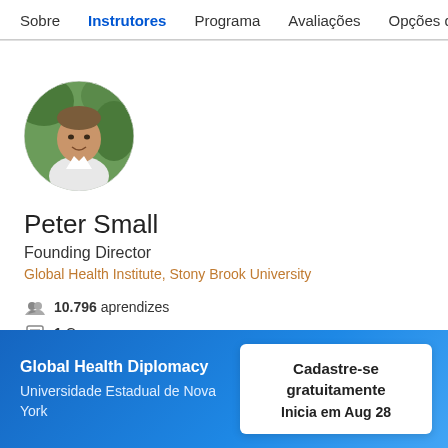Sobre  Instrutores  Programa  Avaliações  Opções de
[Figure (photo): Circular profile photo of Peter Small, a man outdoors with green foliage background, wearing a white shirt]
Peter Small
Founding Director
Global Health Institute, Stony Brook University
10.796 aprendizes
1 Curso
Global Health Diplomacy
Universidade Estadual de Nova York
Cadastre-se gratuitamente
Inicia em Aug 28